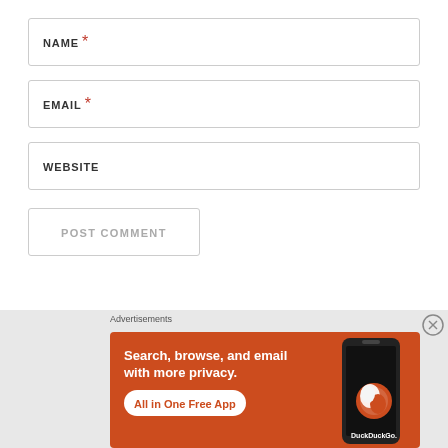NAME *
EMAIL *
WEBSITE
POST COMMENT
Advertisements
[Figure (screenshot): DuckDuckGo advertisement banner with orange background. Text reads: 'Search, browse, and email with more privacy. All in One Free App' with DuckDuckGo logo and phone image.]